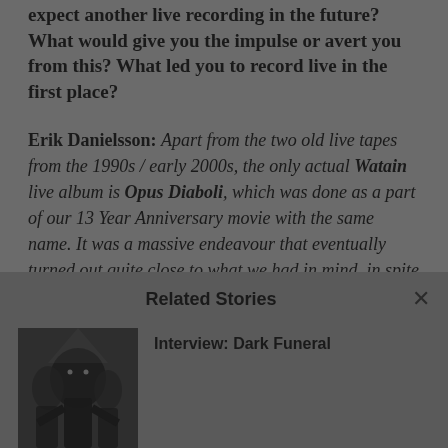expect another live recording in the future? What would give you the impulse or avert you from this? What led you to record live in the first place?
Erik Danielsson: Apart from the two old live tapes from the 1990s / early 2000s, the only actual Watain live album is Opus Diaboli, which was done as a part of our 13 Year Anniversary movie with the same name. It was a massive endeavour that eventually turned out quite close to what we had in mind, in spite of it being the first time we worked
Related Stories
[Figure (photo): Black and white photo of Dark Funeral band members in dark costumes/stage clothing]
Interview: Dark Funeral